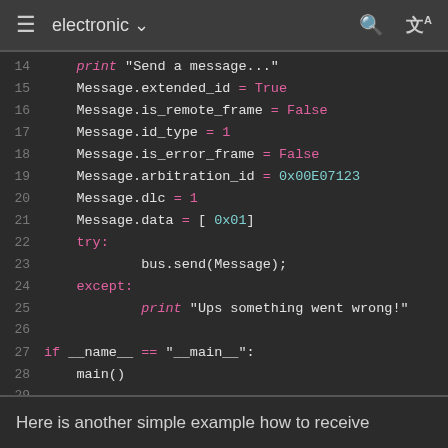electronic
[Figure (screenshot): Python code editor showing lines 14-29 with syntax highlighting on dark background. Code sets Message object properties and sends via CAN bus.]
Here is another simple example how to receive